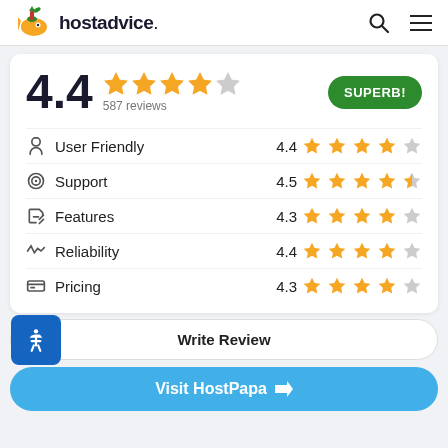hostadvice.
4.4 — 587 reviews — SUPERB!
User Friendly  4.4
Support  4.5
Features  4.3
Reliability  4.4
Pricing  4.3
Write Review
Visit HostPapa